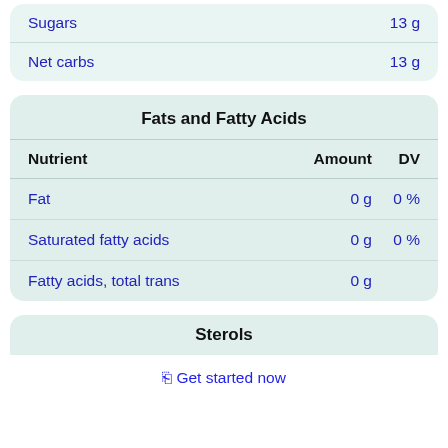| Nutrient | Amount |
| --- | --- |
| Sugars | 13 g |
| Net carbs | 13 g |
| Nutrient | Amount | DV |
| --- | --- | --- |
| Fat | 0 g | 0 % |
| Saturated fatty acids | 0 g | 0 % |
| Fatty acids, total trans | 0 g |  |
Fats and Fatty Acids
Sterols
⊕ Get started now